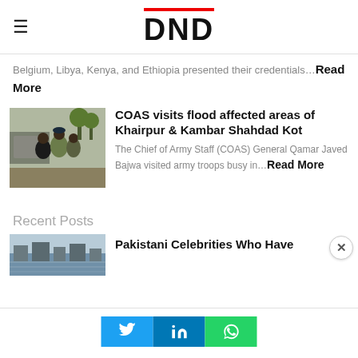DND
Belgium, Libya, Kenya, and Ethiopia presented their credentials… Read More
[Figure (photo): Military officer interacting with civilians in flood-affected area]
COAS visits flood affected areas of Khairpur & Kambar Shahdad Kot
The Chief of Army Staff (COAS) General Qamar Javed Bajwa visited army troops busy in… Read More
Recent Posts
[Figure (photo): Aerial view of flooded area]
Pakistani Celebrities Who Have